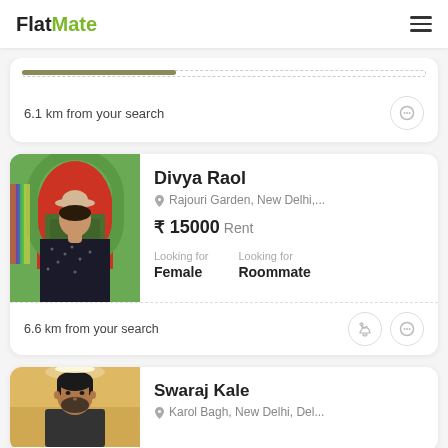FlatMate
6.1 km from your search
[Figure (photo): Profile photo of Divya Raol – woman in black dress and hat standing near a green ornate arch door with red background]
Divya Raol
Rajouri Garden, New Delhi,...
₹ 15000 Rent
Looking for Female
Looking for Roommate
6.6 km from your search
[Figure (photo): Profile photo of Swaraj Kale – man with beard in indoor setting]
Swaraj Kale
Karol Bagh, New Delhi, Del...